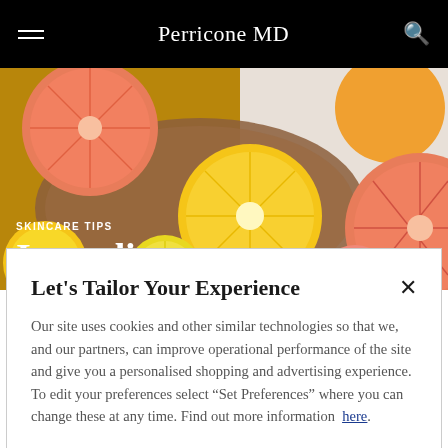Perricone MD
[Figure (photo): Overhead photo of halved citrus fruits (grapefruits, lemons, limes) on a wooden cutting board and marble surface]
SKINCARE TIPS
Ingredient
Let's Tailor Your Experience
Our site uses cookies and other similar technologies so that we, and our partners, can improve operational performance of the site and give you a personalised shopping and advertising experience. To edit your preferences select "Set Preferences" where you can change these at any time. Find out more information here.
Set Preferences
That's OK